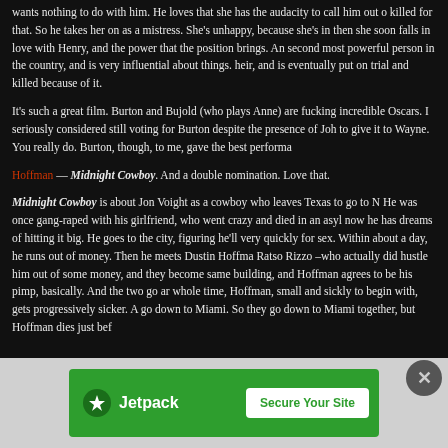wants nothing to do with him. He loves that she has the audacity to call him out of killed for that. So he takes her on as a mistress. She's unhappy, because she's in then she soon falls in love with Henry, and the power that the position brings. And second most powerful person in the country, and is very influential about things. heir, and is eventually put on trial and killed because of it.
It's such a great film. Burton and Bujold (who plays Anne) are fucking incredible h Oscars. I seriously considered still voting for Burton despite the presence of John to give it to Wayne. You really do. Burton, though, to me, gave the best performa
Hoffman — Midnight Cowboy. And a double nomination. Love that.
Midnight Cowboy is about Jon Voight as a cowboy who leaves Texas to go to N He was once gang-raped with his girlfriend, who went crazy and died in an asyl now he has dreams of hitting it big. He goes to the city, figuring he'll very quickly for sex. Within about a day, he runs out of money. Then he meets Dustin Hoffma Ratso Rizzo –who actually did hustle him out of some money, and they become f same building, and Hoffman agrees to be his pimp, basically. And the two go aro whole time, Hoffman, small and sickly to begin with, gets progressively sicker. An go down to Miami. So they go down to Miami together, but Hoffman dies just befo
[Figure (other): Jetpack advertisement banner — green background with Jetpack logo and 'Secure Your Site' button]